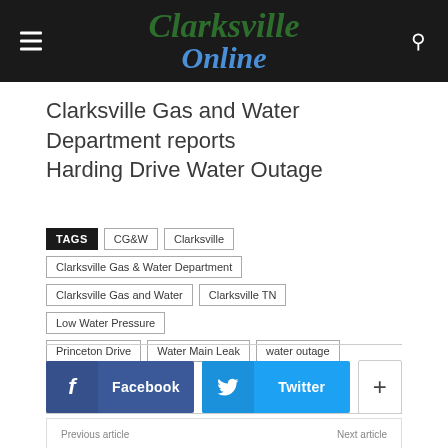Clarksville Online
Clarksville Gas and Water Department reports Harding Drive Water Outage
TAGS | CG&W | Clarksville | Clarksville Gas & Water Department | Clarksville Gas and Water | Clarksville TN | Low Water Pressure | Princeton Drive | Water Main Leak | water outage
Facebook | Twitter | +
Previous article: Montgomery County Parks | Next article: Tennessee Department of